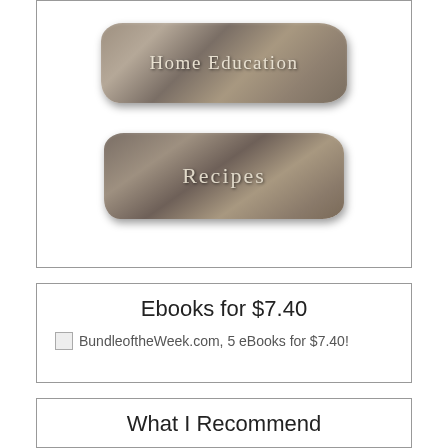[Figure (illustration): Two wooden driftwood-style signs stacked vertically inside a bordered box. Top sign reads 'Home Education' and bottom sign reads 'Recipes', both in serif font with a weathered wood texture.]
Ebooks for $7.40
[Figure (illustration): Broken image placeholder followed by text: BundleoftheWeek.com, 5 eBooks for $7.40!]
What I Recommend